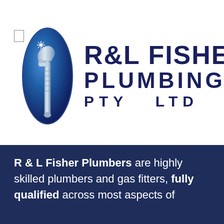[Figure (logo): R&L Fisher Plumbing Pty Ltd logo: blue oval with a metallic pipe wrench and spark/light effect, beside bold dark navy text reading R&L FISHER PLUMBING PTY LTD]
R & L Fisher Plumbers are highly skilled plumbers and gas fitters, fully qualified across most aspects of